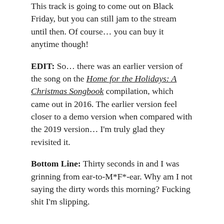This track is going to come out on Black Friday, but you can still jam to the stream until then. Of course… you can buy it anytime though!
EDIT: So… there was an earlier version of the song on the Home for the Holidays: A Christmas Songbook compilation, which came out in 2016. The earlier version feel closer to a demo version when compared with the 2019 version… I'm truly glad they revisited it.
Bottom Line: Thirty seconds in and I was grinning from ear-to-M*F*-ear. Why am I not saying the dirty words this morning? Fucking shit I'm slipping.
LISTEN
[Figure (other): Bandcamp embedded music player showing 'Christmas in the Borough of Ou...' by Virgin of the Birds with buy and share links and Bandcamp logo]